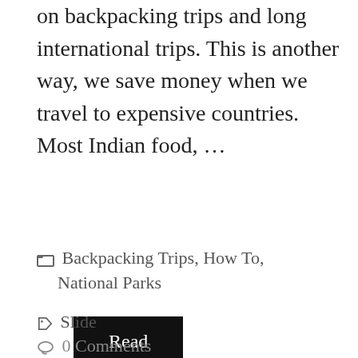on backpacking trips and long international trips. This is another way, we save money when we travel to expensive countries.  Most Indian food, …
Read more
Backpacking Trips, How To, National Parks
Slide
0 Comments